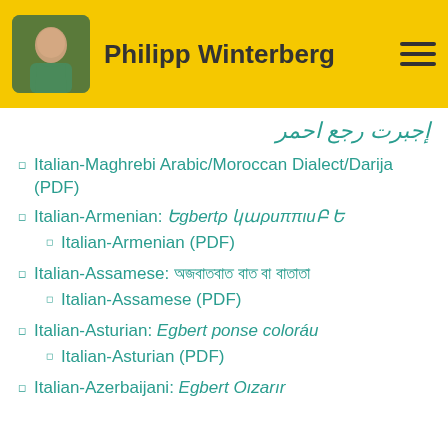Philipp Winterberg
إجبرت رجع احمر
Italian-Maghrebi Arabic/Moroccan Dialect/Darija (PDF)
Italian-Armenian: Եgbertρ կաρuππιuԲ E
Italian-Armenian (PDF)
Italian-Assamese: অজবাতবাত বাত বা বাতাতা
Italian-Assamese (PDF)
Italian-Asturian: Egbert ponse coloráu
Italian-Asturian (PDF)
Italian-Azerbaijani: Egbert Oızarır